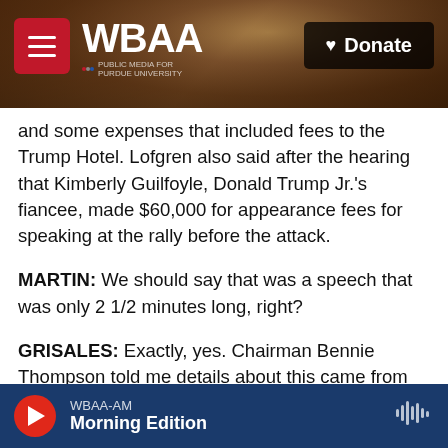[Figure (screenshot): WBAA NPR radio station website header with logo, hamburger menu button, Donate button, and background photo of tree branches]
and some expenses that included fees to the Trump Hotel. Lofgren also said after the hearing that Kimberly Guilfoyle, Donald Trump Jr.'s fiancee, made $60,000 for appearance fees for speaking at the rally before the attack.
MARTIN: We should say that was a speech that was only 2 1/2 minutes long, right?
GRISALES: Exactly, yes. Chairman Bennie Thompson told me details about this came from public and internal tax revenue records. And while details so far are limited, more is expected to be shared in future hearings and their final report.
WBAA-AM Morning Edition